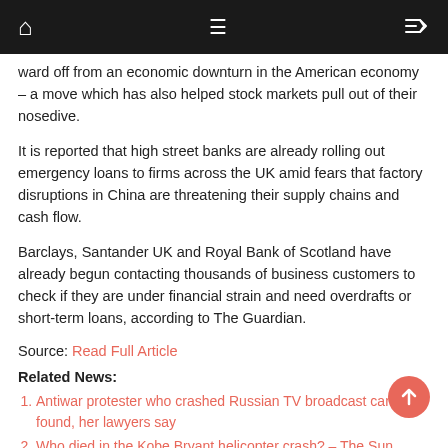[Navigation bar with home, menu, and shuffle icons]
ward off from an economic downturn in the American economy – a move which has also helped stock markets pull out of their nosedive.
It is reported that high street banks are already rolling out emergency loans to firms across the UK amid fears that factory disruptions in China are threatening their supply chains and cash flow.
Barclays, Santander UK and Royal Bank of Scotland have already begun contacting thousands of business customers to check if they are under financial strain and need overdrafts or short-term loans, according to The Guardian.
Source: Read Full Article
Related News:
Antiwar protester who crashed Russian TV broadcast can't be found, her lawyers say
Who died in the Kobe Bryant helicopter crash? – The Sun
Amber alert issued for missing three-year-old Kaysie Jay Lipscomb